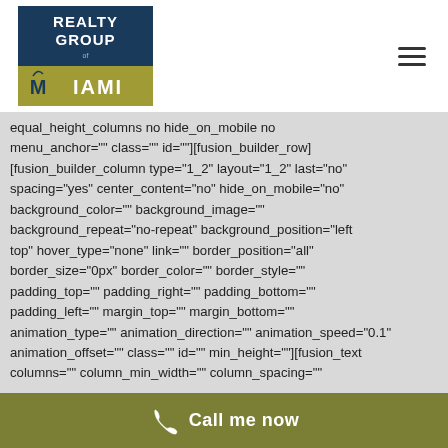[Figure (logo): Realty Group of Miami logo: dark navy rectangle with REALTY GROUP text above a gold/olive rectangle with MIAMI text and a palm tree / M icon]
equal_height_columns no hide_on_mobile no menu_anchor="" class="" id=""][fusion_builder_row] [fusion_builder_column type="1_2" layout="1_2" last="no" spacing="yes" center_content="no" hide_on_mobile="no" background_color="" background_image="" background_repeat="no-repeat" background_position="left top" hover_type="none" link="" border_position="all" border_size="0px" border_color="" border_style="" padding_top="" padding_right="" padding_bottom="" padding_left="" margin_top="" margin_bottom="" animation_type="" animation_direction="" animation_speed="0.1" animation_offset="" class="" id="" min_height=""][fusion_text columns="" column_min_width="" column_spacing=""
Call me now